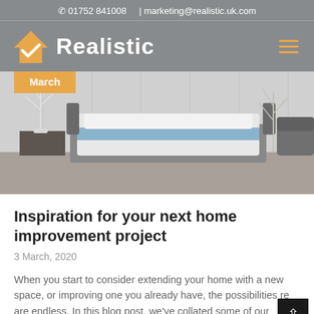01752 841008  |  marketing@realistic.uk.com
[Figure (logo): Realistic logo: orange house with checkmark icon and white bold text 'Realistic' on grey background]
[Figure (photo): Bedroom interior photo with white bedding and blue accent, decorative white tree branches, dark furniture. Orange 'March' tag overlay in top-left corner.]
Inspiration for your next home improvement project
3 March, 2020
When you start to consider extending your home with a new space, or improving one you already have, the possibilities really are endless. In this blog post, we've collated some of our favourite